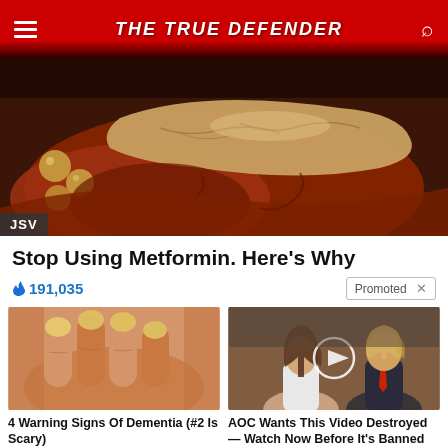THE TRUE DEFENDER
[Figure (photo): Close-up medical illustration of the pancreas and surrounding organs, pinkish-brown tissue]
JSV
Stop Using Metformin. Here's Why
🔥 191,035   Promoted ×
[Figure (photo): Close-up photo of yellowish fingernails on a hand]
4 Warning Signs Of Dementia (#2 Is Scary) 🔥 16,583
[Figure (photo): Photo of Melania Trump and Donald Trump with a video play button overlay]
AOC Wants This Video Destroyed — Watch Now Before It's Banned 🔥 650,995